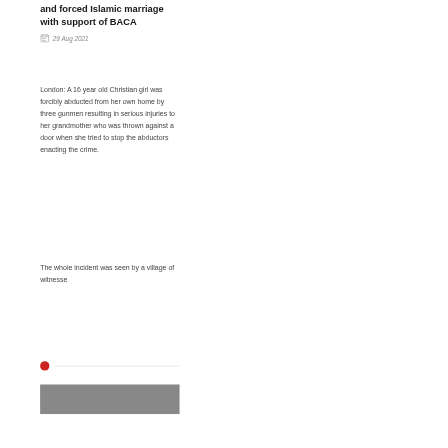and forced Islamic marriage with support of BACA
29 Aug 2021
London: A 16 year old Christian girl was forcibly abducted from her own home by three gunmen resulting in serious injuries to her grandmother who was thrown against a door when she tried to stop the abductors enacting the crime.
The whole incident was seen by a village of witnesse
[Figure (photo): Photo strip at bottom of article]